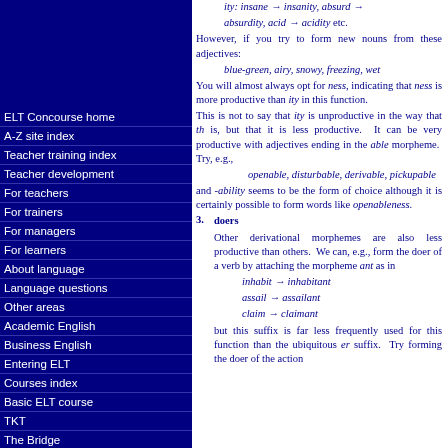ity: insane → insanity, absurd → absurdity, acid → acidity etc.
However, if you try to form new nouns from these adjectives:
blue-green, airy, snowy, freezing, wet
You will almost always opt for ness, indicating that ness is more productive than ity in this function.
This is not to say that ity is unproductive in the way that th is, but that it is less productive. It can be very productive with adjectives ending in the able morpheme. Try, e.g.,
openable, disturbable, derivable, pickupable
and -ability seems to be the form of choice although it is certainly possible to form words like openableness.
doers
Other derivational morphemes are also less productive than others. We can, e.g., form the doer of a verb by attaching the morpheme ant as in
inhabit → inhabitant
assail → assailant
claim → claimant
but this suffix is far less frequently used for this function than the ubiquitous er suffix. Try forming the doer of the action
ELT Concourse home
A-Z site index
Teacher training index
Teacher development
For teachers
For trainers
For managers
For learners
About language
Language questions
Other areas
Academic English
Business English
Entering ELT
Courses index
Basic ELT course
TKT
The Bridge
Language analysis
Training to train